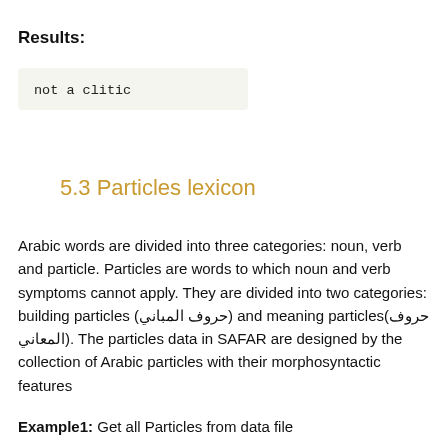Results:
not a clitic
5.3 Particles lexicon
Arabic words are divided into three categories: noun, verb and particle. Particles are words to which noun and verb symptoms cannot apply. They are divided into two categories: building particles (حروف المباني) and meaning particles(حروف المعاني). The particles data in SAFAR are designed by the collection of Arabic particles with their morphosyntactic features
Example1: Get all Particles from data file